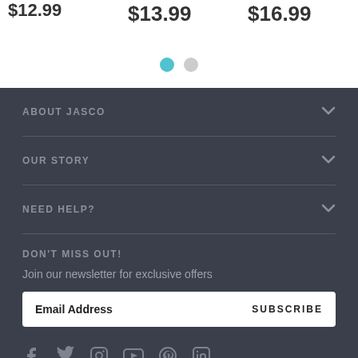$12.99
$13.99
$16.99
ABOUT JASCO
OUR STORY
NEED HELP?
DON'T MISS OUT!
Join our newsletter for exclusive offers
Email Address
SUBSCRIBE
[Figure (other): Social media icons: Facebook, Twitter, Instagram, YouTube, Pinterest, LinkedIn]